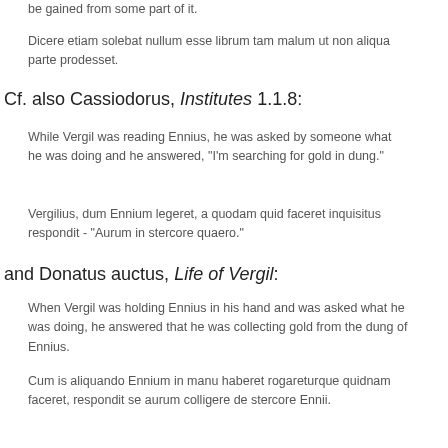be gained from some part of it.
Dicere etiam solebat nullum esse librum tam malum ut non aliqua parte prodesset.
Cf. also Cassiodorus, Institutes 1.1.8:
While Vergil was reading Ennius, he was asked by someone what he was doing and he answered, "I'm searching for gold in dung."
Vergilius, dum Ennium legeret, a quodam quid faceret inquisitus respondit - "Aurum in stercore quaero."
and Donatus auctus, Life of Vergil:
When Vergil was holding Ennius in his hand and was asked what he was doing, he answered that he was collecting gold from the dung of Ennius.
Cum is aliquando Ennium in manu haberet rogareturque quidnam faceret, respondit se aurum colligere de stercore Ennii.